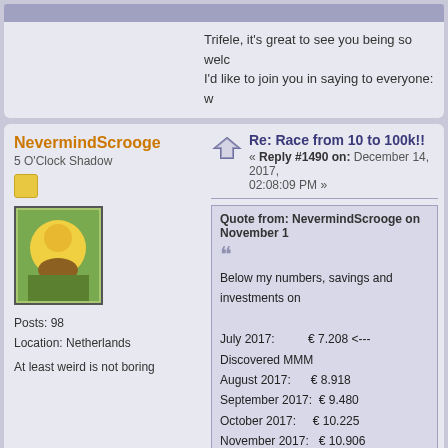Trifele, it's great to see you being so welc... I'd like to join you in saying to everyone: w...
Re: Race from 10 to 100k!!
« Reply #1490 on: December 14, 2017, 02:08:09 PM »
NevermindScrooge
5 O'Clock Shadow
Posts: 98
Location: Netherlands
At least weird is not boring
Quote from: NevermindScrooge on November 1...
Below my numbers, savings and investments on...

July 2017:          € 7.208 <--- Discovered MMM
August 2017:      € 8.918
September 2017:  € 9.480
October 2017:     € 10.225
November 2017:  € 10.906
December 2017: €16.738 /$19,728 (+ €5.832) - f
Re: Race from 10 to 100k!!
ardrum